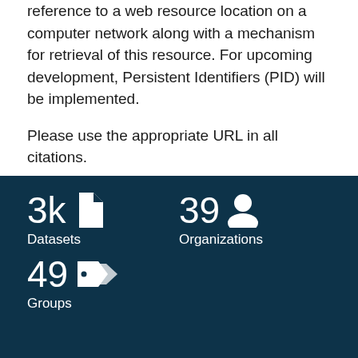reference to a web resource location on a computer network along with a mechanism for retrieval of this resource. For upcoming development, Persistent Identifiers (PID) will be implemented.
Please use the appropriate URL in all citations.
[Figure (infographic): Dark teal statistics panel showing three stats: 3k Datasets (document icon), 39 Organizations (person icon), 49 Groups (tags icon)]